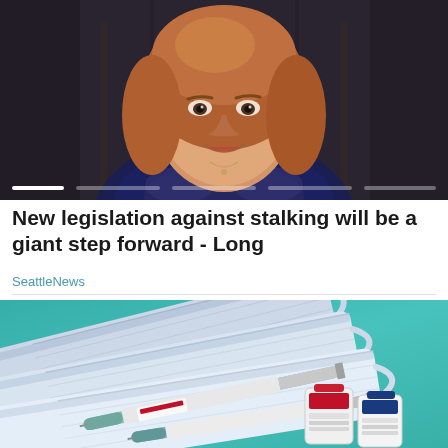[Figure (photo): Woman with red/auburn hair smiling, wearing dark navy jacket, seated in front of dark wooden background. Slideshow indicator bars at bottom of image.]
New legislation against stalking will be a giant step forward - Long
SeattleNews
[Figure (photo): Medical face masks and syringes with vaccine vials arranged on a teal/turquoise background.]